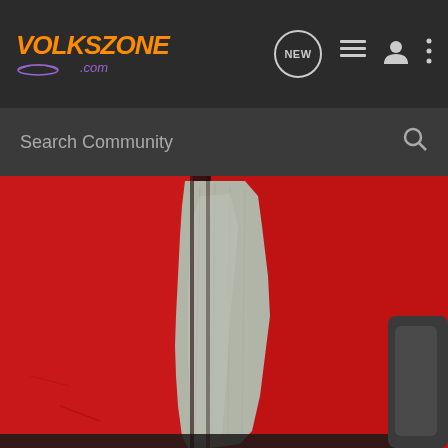[Figure (screenshot): Volkszone.com website header with orange and purple logo on dark background, navigation icons including NEW chat bubble, list icon, user icon, and kebab menu]
[Figure (screenshot): Search Community search bar on dark grey background with magnifying glass icon]
[Figure (photo): Close-up photo of a red car body panel with grey putty/filler applied vertically along a door seam gap. Dark rubber seal visible at bottom. Partial view of dark object at right edge.]